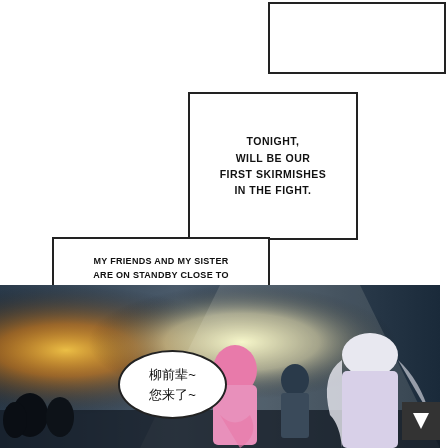[Figure (illustration): Empty white speech box panel at top right]
TONIGHT, WILL BE OUR FIRST SKIRMISHES IN THE FIGHT.
MY FRIENDS AND MY SISTER ARE ON STANDBY CLOSE TO THE DIMENSIONAL GATE IS LOCATED, DIMENSIONAL GATE? IT'S JUST A TELEPORTATION ARRAY.
[Figure (illustration): Manga panel showing anime-style characters including a pink-haired character, a small character, and a white-haired character standing before a glowing gate with crowds in background]
柳前辈~
您来了~